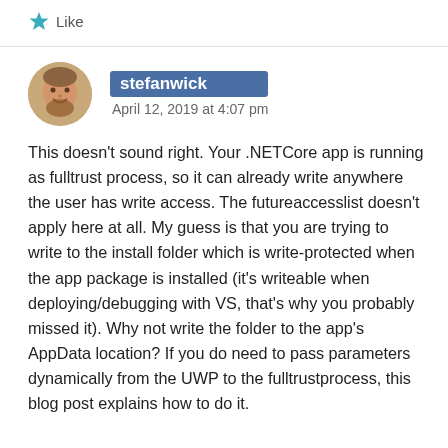Like
stefanwick
April 12, 2019 at 4:07 pm
This doesn't sound right. Your .NETCore app is running as fulltrust process, so it can already write anywhere the user has write access. The futureaccesslist doesn't apply here at all. My guess is that you are trying to write to the install folder which is write-protected when the app package is installed (it's writeable when deploying/debugging with VS, that's why you probably missed it). Why not write the folder to the app's AppData location? If you do need to pass parameters dynamically from the UWP to the fulltrustprocess, this blog post explains how to do it.